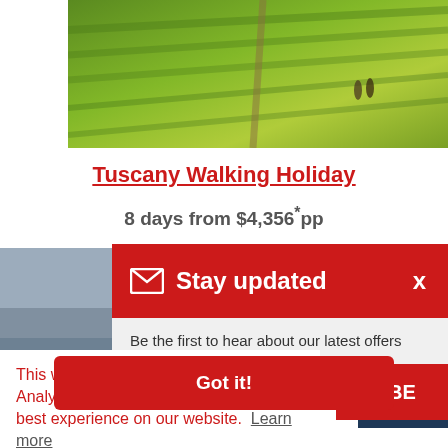[Figure (photo): Aerial view of green Tuscany fields with a road and two hikers walking]
Tuscany Walking Holiday
8 days from $4,356*pp
[Figure (screenshot): Stay updated popup banner with red header containing envelope icon, 'Stay updated' text, and close X button, with grey subtext 'Be the first to hear about our latest offers and promotions.' and SUBSCRIBE button]
This website uses cookies and Google Analytics tracking to ensure you get the best experience on our website. Learn more
[Figure (screenshot): Got it! red button for cookie consent]
5 days from $3,268 pp